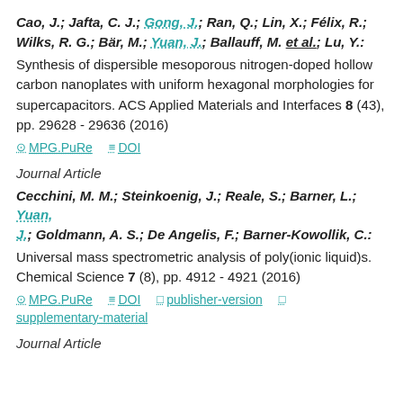Cao, J.; Jafta, C. J.; Gong, J.; Ran, Q.; Lin, X.; Félix, R.; Wilks, R. G.; Bär, M.; Yuan, J.; Ballauff, M. et al.; Lu, Y.: Synthesis of dispersible mesoporous nitrogen-doped hollow carbon nanoplates with uniform hexagonal morphologies for supercapacitors. ACS Applied Materials and Interfaces 8 (43), pp. 29628 - 29636 (2016)
MPG.PuRe   DOI
Journal Article
Cecchini, M. M.; Steinkoenig, J.; Reale, S.; Barner, L.; Yuan, J.; Goldmann, A. S.; De Angelis, F.; Barner-Kowollik, C.: Universal mass spectrometric analysis of poly(ionic liquid)s. Chemical Science 7 (8), pp. 4912 - 4921 (2016)
MPG.PuRe   DOI   publisher-version   supplementary-material
Journal Article